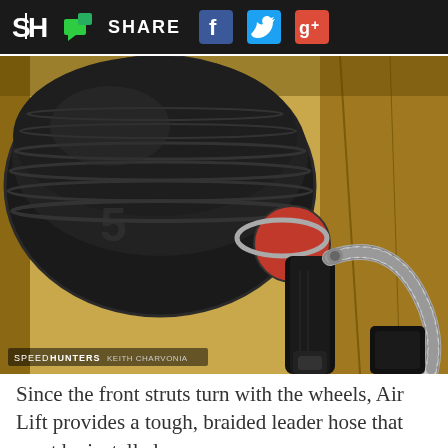SH SHARE [Facebook] [Twitter] [Google+]
[Figure (photo): Close-up photo of an air suspension strut with black air bag/bellow and braided stainless steel leader hose with red end cap fitting, sitting in a cardboard box. Watermark reads SPEEDHUNTERS KEITH CHARVONIA.]
Since the front struts turn with the wheels, Air Lift provides a tough, braided leader hose that must be installed.